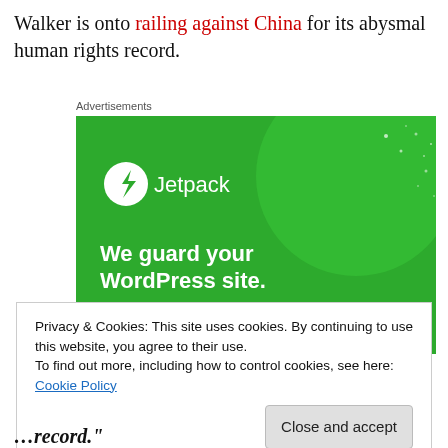Walker is onto railing against China for its abysmal human rights record.
Advertisements
[Figure (screenshot): Jetpack advertisement: green background with Jetpack logo and text 'We guard your WordPress site. You run your business.']
Privacy & Cookies: This site uses cookies. By continuing to use this website, you agree to their use.
To find out more, including how to control cookies, see here: Cookie Policy
[Close and accept button]
record."